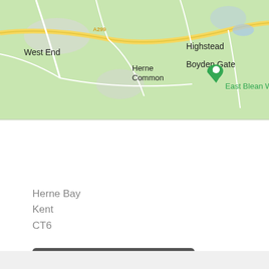[Figure (map): Google Maps view showing area around East Blean Woods near Herne Bay, Kent. Map shows roads including A299, place names: West End, Herne Common, Highstead, Boyden Gate, and a green location pin marker labeled East Blean Woods.]
Herne Bay
Kent
CT6
07939609978